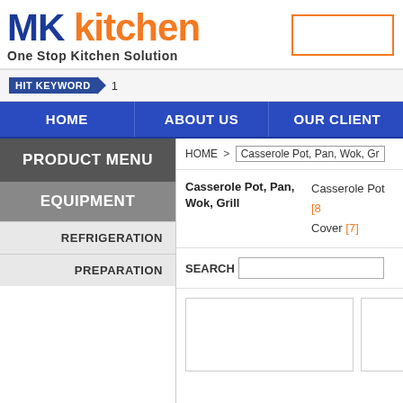[Figure (screenshot): MK Kitchen website screenshot showing logo, navigation, product menu sidebar, and casserole pot category page]
MK kitchen – One Stop Kitchen Solution
HIT KEYWORD 1
HOME | ABOUT US | OUR CLIENTS
PRODUCT MENU
EQUIPMENT
REFRIGERATION
PREPARATION
HOME > Casserole Pot, Pan, Wok, Grill
Casserole Pot, Pan, Wok, Grill
Casserole Pot [8] Cover [7]
SEARCH